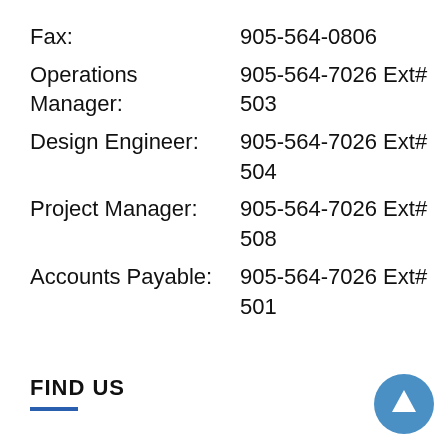| Role | Contact |
| --- | --- |
| Fax: | 905-564-0806 |
| Operations Manager: | 905-564-7026 Ext# 503 |
| Design Engineer: | 905-564-7026 Ext# 504 |
| Project Manager: | 905-564-7026 Ext# 508 |
| Accounts Payable: | 905-564-7026 Ext# 501 |
FIND US